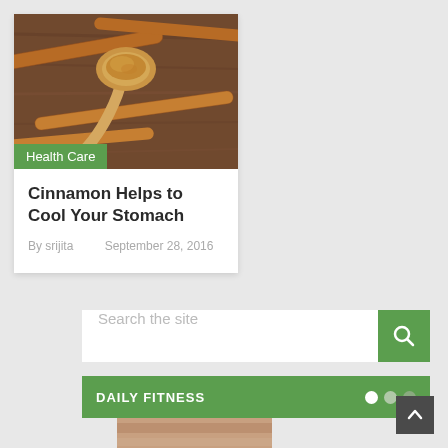[Figure (photo): Cinnamon sticks and cinnamon powder on a wooden spoon, on a dark wooden surface]
Health Care
Cinnamon Helps to Cool Your Stomach
By srijita   September 28, 2016
Search the site
DAILY FITNESS
[Figure (photo): Partial photo below the Daily Fitness bar]